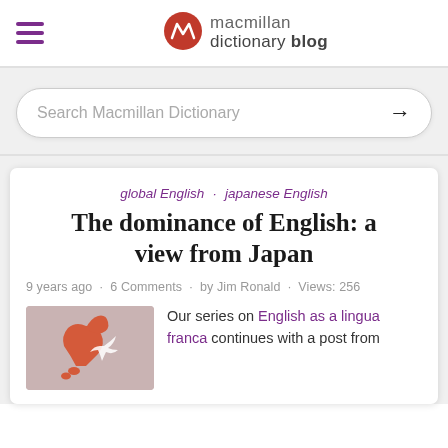macmillan dictionary blog
Search Macmillan Dictionary
global English · japanese English
The dominance of English: a view from Japan
9 years ago · 6 Comments · by Jim Ronald · Views: 256
[Figure (illustration): Map illustration of Japan in orange/red tones on a pinkish-beige background]
Our series on English as a lingua franca continues with a post from